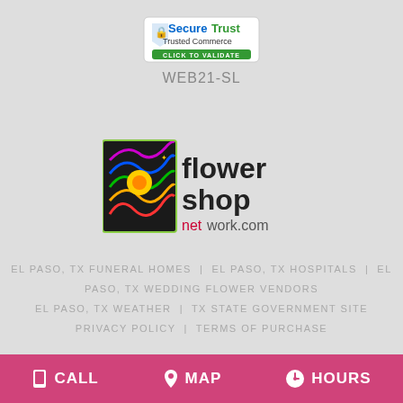[Figure (logo): SecureTrust Trusted Commerce - Click to Validate badge]
WEB21-SL
[Figure (logo): Flower Shop Network .com logo with colorful graphic icon]
EL PASO, TX FUNERAL HOMES | EL PASO, TX HOSPITALS | EL PASO, TX WEDDING FLOWER VENDORS
EL PASO, TX WEATHER | TX STATE GOVERNMENT SITE
PRIVACY POLICY | TERMS OF PURCHASE
CALL | MAP | HOURS